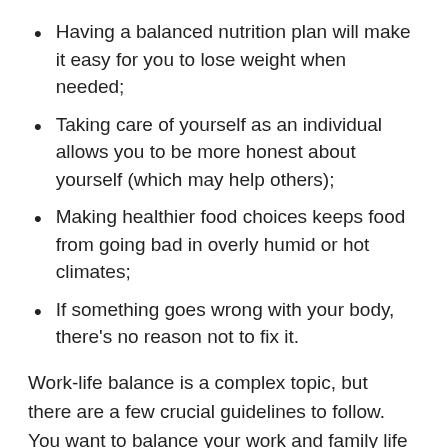Having a balanced nutrition plan will make it easy for you to lose weight when needed;
Taking care of yourself as an individual allows you to be more honest about yourself (which may help others);
Making healthier food choices keeps food from going bad in overly humid or hot climates;
If something goes wrong with your body, there's no reason not to fix it.
Work-life balance is a complex topic, but there are a few crucial guidelines to follow. You want to balance your work and family life to be productive at work on time and when you're not home. Make sure that you're spending enough time away from the office